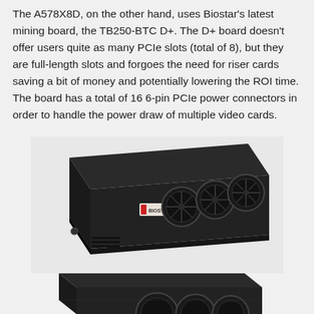The A578X8D, on the other hand, uses Biostar's latest mining board, the TB250-BTC D+. The D+ board doesn't offer users quite as many PCIe slots (total of 8), but they are full-length slots and forgoes the need for riser cards saving a bit of money and potentially lowering the ROI time. The board has a total of 16 6-pin PCIe power connectors in order to handle the power draw of multiple video cards.
[Figure (photo): A black rack-mounted cryptocurrency mining rig (A578X8D) with Biostar branding label on the front, featuring four large cooling fans visible on the right side, viewed from a slight angle showing the top and front.]
[Figure (photo): Partial view of a second black rack-mounted mining rig, showing the top and front edge with fans partially visible, cropped at the bottom of the page.]